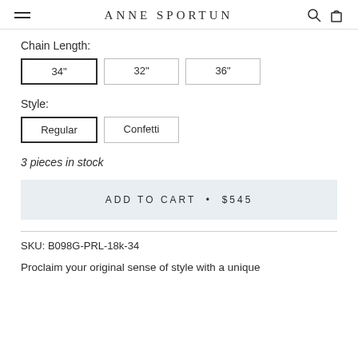ANNE SPORTUN
Chain Length:
34"	32"	36"
Style:
Regular	Confetti
3 pieces in stock
ADD TO CART • $545
SKU: B098G-PRL-18k-34
Proclaim your original sense of style with a unique